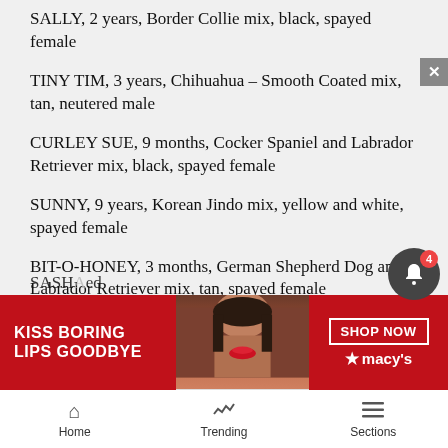SALLY, 2 years, Border Collie mix, black, spayed female
TINY TIM, 3 years, Chihuahua – Smooth Coated mix, tan, neutered male
CURLEY SUE, 9 months, Cocker Spaniel and Labrador Retriever mix, black, spayed female
SUNNY, 9 years, Korean Jindo mix, yellow and white, spayed female
BIT-O-HONEY, 3 months, German Shepherd Dog and Labrador Retriever mix, tan, spayed female
MISSY, 3 months, Labrador Retriever and German Shepherd mix, …
SASHA …ed
[Figure (photo): Macy's advertisement banner: 'KISS BORING LIPS GOODBYE' with red-lipstick model photo and 'SHOP NOW macy's' button]
Home  Trending  Sections